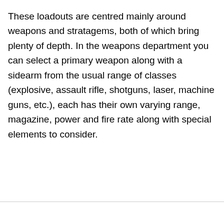These loadouts are centred mainly around weapons and stratagems, both of which bring plenty of depth. In the weapons department you can select a primary weapon along with a sidearm from the usual range of classes (explosive, assault rifle, shotguns, laser, machine guns, etc.), each has their own varying range, magazine, power and fire rate along with special elements to consider.